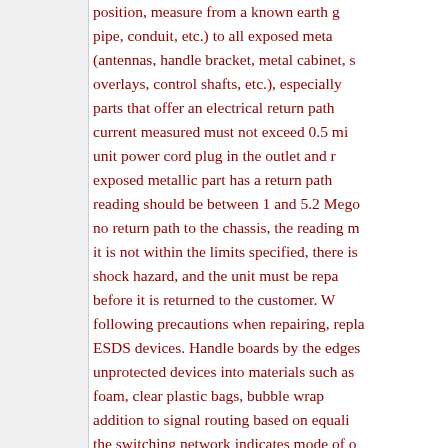position, measure from a known earth ground (water pipe, conduit, etc.) to all exposed metallic parts (antennas, handle bracket, metal cabinet, shields, overlays, control shafts, etc.), especially those parts that offer an electrical return path. The current measured must not exceed 0.5 milliamps. With unit power cord plug in the outlet and reversed, if an exposed metallic part has a return path to chassis, reading should be between 1 and 5.2 Megohms. If there is no return path to the chassis, the reading may be open. If it is not within the limits specified, there is a potential shock hazard, and the unit must be repaired/corrected before it is returned to the customer. When taking the following precautions when repairing, replacing, handling ESDS devices. Handle boards by the edges only. Do not put unprotected devices into materials such as ordinary plastic foam, clear plastic bags, bubble wrap ... In addition to signal routing based on equalization, the switching network indicates mode of operation